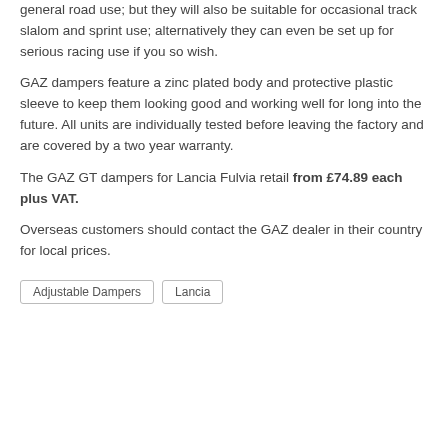general road use; but they will also be suitable for occasional track slalom and sprint use; alternatively they can even be set up for serious racing use if you so wish.
GAZ dampers feature a zinc plated body and protective plastic sleeve to keep them looking good and working well for long into the future. All units are individually tested before leaving the factory and are covered by a two year warranty.
The GAZ GT dampers for Lancia Fulvia retail from £74.89 each plus VAT.
Overseas customers should contact the GAZ dealer in their country for local prices.
Adjustable Dampers
Lancia